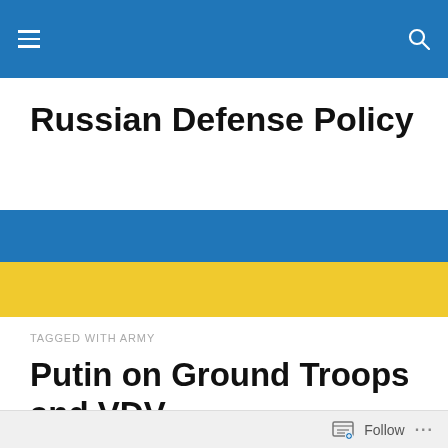Russian Defense Policy — navigation header
Russian Defense Policy
[Figure (illustration): Ukrainian flag banner: blue strip on top, yellow strip below]
TAGGED WITH ARMY
Putin on Ground Troops and VDV
Follow